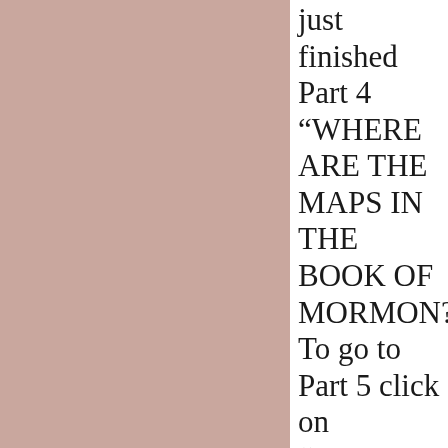[Figure (other): Solid pinkish-mauve colored rectangle filling the left portion of the page]
just finished Part 4 “WHERE ARE THE MAPS IN THE BOOK OF MORMON? To go to Part 5 click on “JOSEPH SMITH THE SEER!”